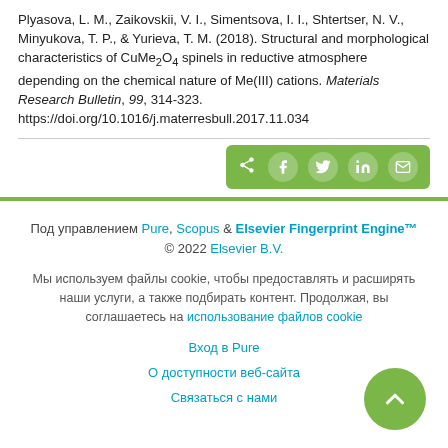Plyasova, L. M., Zaikovskii, V. I., Simentsova, I. I., Shtertser, N. V., Minyukova, T. P., & Yurieva, T. M. (2018). Structural and morphological characteristics of CuMe2O4 spinels in reductive atmosphere depending on the chemical nature of Me(III) cations. Materials Research Bulletin, 99, 314-323. https://doi.org/10.1016/j.materresbull.2017.11.034
[Figure (infographic): Social sharing buttons bar (green background): share icon, Facebook, Twitter, LinkedIn, Email]
Под управлением Pure, Scopus & Elsevier Fingerprint Engine™ © 2022 Elsevier B.V.
Мы используем файлы cookie, чтобы предоставлять и расширять наши услуги, а также подбирать контент. Продолжая, вы соглашаетесь на использование файлов cookie
Вход в Pure
О доступности веб-сайта
Связаться с нами